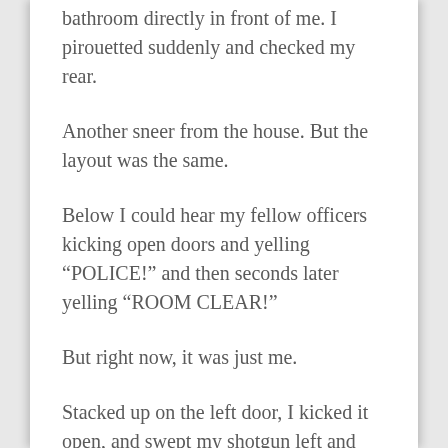bathroom directly in front of me. I pirouetted suddenly and checked my rear.
Another sneer from the house. But the layout was the same.
Below I could hear my fellow officers kicking open doors and yelling “POLICE!” and then seconds later yelling “ROOM CLEAR!”
But right now, it was just me.
Stacked up on the left door, I kicked it open, and swept my shotgun left and right.
Nothing. Just stained, ugly carpet. No furniture. Nothing of interest. Nowhere for the man to